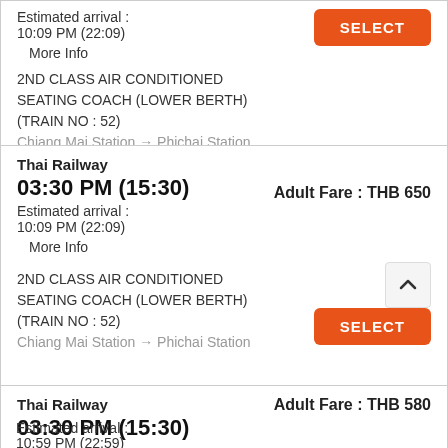Estimated arrival :
10:09 PM (22:09)
More Info
SELECT
2ND CLASS AIR CONDITIONED SEATING COACH (LOWER BERTH) (TRAIN NO : 52)
Chiang Mai Station → Phichai Station
Thai Railway
03:30 PM (15:30)
Adult Fare : THB 650
Estimated arrival :
10:09 PM (22:09)
More Info
SELECT
2ND CLASS AIR CONDITIONED SEATING COACH (LOWER BERTH) (TRAIN NO : 52)
Chiang Mai Station → Phichai Station
Thai Railway
03:30 PM (15:30)
Adult Fare : THB 580
Estimated arrival :
10:59 PM (22:59)